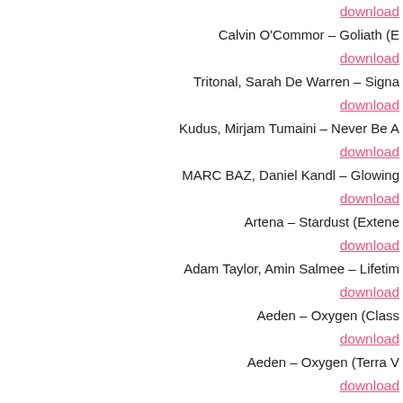download
Calvin O'Commor – Goliath (E…
download
Tritonal, Sarah De Warren – Signa…
download
Kudus, Mirjam Tumaini – Never Be A…
download
MARC BAZ, Daniel Kandl – Glowing …
download
Artena – Stardust (Extene…
download
Adam Taylor, Amin Salmee – Lifetim…
download
Aeden – Oxygen (Class…
download
Aeden – Oxygen (Terra V…
download
Ahmed Helmy – Let Me Out (E…
download
Airdream – Lost In Time (Ext…
download
Alexander De Roy, Hidden Tigress – Straight…